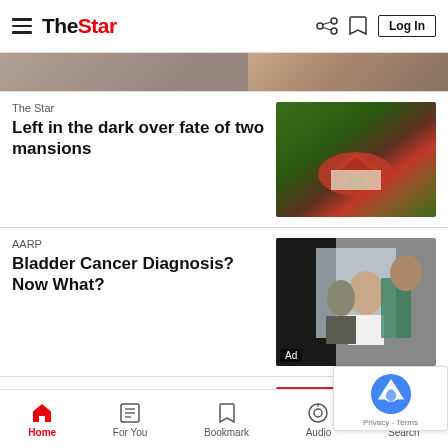The Star — navigation header with hamburger menu, share, bookmark, Log In
[Figure (photo): Partial top image strip showing a person, cropped at top]
The Star
Left in the dark over fate of two mansions
[Figure (photo): Aerial view of red-roofed mansion surrounded by green forest]
AARP
Bladder Cancer Diagnosis? Now What?
[Figure (photo): Medical consultation scene with doctor in white coat speaking to patient, marked Ad]
The Star
[Figure (photo): Partial image showing red/medical imagery, partially visible]
Home | For You | Bookmark | Audio | Search